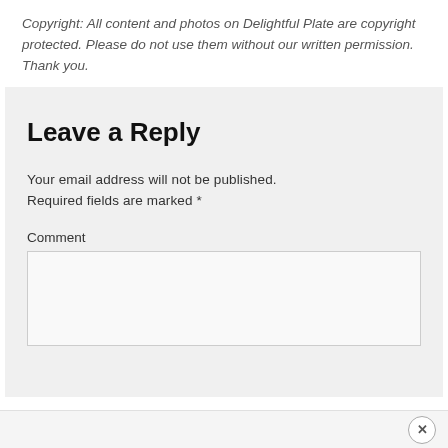Copyright: All content and photos on Delightful Plate are copyright protected. Please do not use them without our written permission. Thank you.
Leave a Reply
Your email address will not be published. Required fields are marked *
Comment